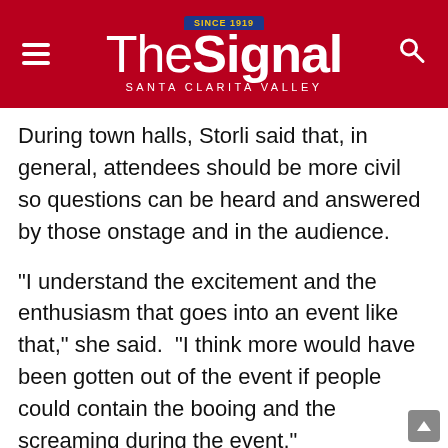The Signal — Santa Clarita Valley
During town halls, Storli said that, in general, attendees should be more civil so questions can be heard and answered by those onstage and in the audience.
“I understand the excitement and the enthusiasm that goes into an event like that,” she said.  “I think more would have been gotten out of the event if people could contain the booing and the screaming during the event.”
Governing Board Clerk Steve Sturgeon said he did not have a comment on the situation, as he had not